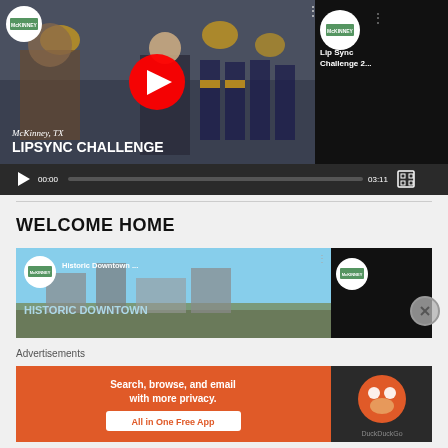[Figure (screenshot): YouTube video player showing McKinney TX Lip Sync Challenge video thumbnail with police officer and cheerleaders, play button overlay, video controls showing 00:00 / 03:11]
WELCOME HOME
[Figure (screenshot): YouTube video thumbnail for Historic Downtown McKinney video, partially visible]
Advertisements
[Figure (screenshot): DuckDuckGo advertisement banner: Search, browse, and email with more privacy. All in One Free App]